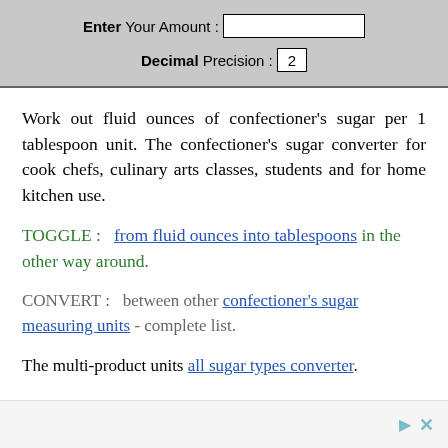Enter Your Amount : [input box]  Decimal Precision : 2
Work out fluid ounces of confectioner’s sugar per 1 tablespoon unit. The confectioner’s sugar converter for cook chefs, culinary arts classes, students and for home kitchen use.
TOGGLE :   from fluid ounces into tablespoons in the other way around.
CONVERT :   between other confectioner’s sugar measuring units - complete list.
The multi-product units all sugar types converter.